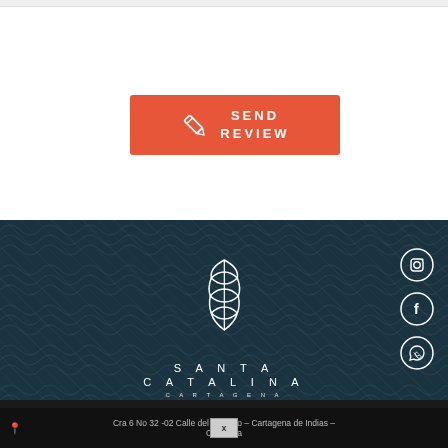[Figure (screenshot): Orange/red 'Send review' button with pencil icon on white background]
[Figure (logo): Santa Catalina Cartagena logo — white feather/leaf symbol above 'SANTA CATALINA CARTAGENA' text on dark teal background with Instagram, Facebook, WhatsApp social icons]
Cookies notice: More details can be found in our Cookies Policy
Cra 6 No 32 -02 Calle del Cuallejo – Cartagena de Indias – Colombia